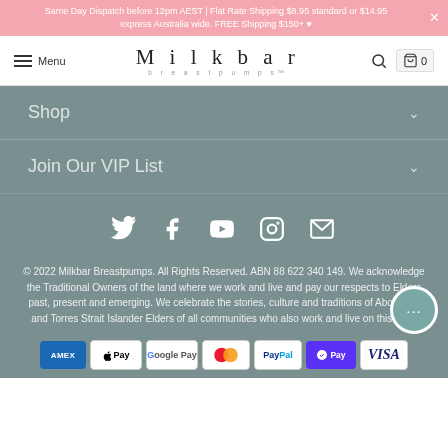Same Day Dispatch before 12pm AEST | Flat Rate Shipping $8.95 standard or $14.95 express Australia wide. FREE Shipping $150+ ♥
Milkbar breastpumps — Menu, Search, Bag 0
Shop
Join Our VIP List
[Figure (infographic): Social media icons row: Twitter, Facebook, YouTube, Instagram, Email]
© 2022 Milkbar Breastpumps. All Rights Reserved. ABN 88 622 340 149. We acknowledge the Traditional Owners of the land where we work and live and pay our respects to Elders past, present and emerging. We celebrate the stories, culture and traditions of Aboriginal and Torres Strait Islander Elders of all communities who also work and live on this land.
[Figure (infographic): Payment method icons: Amex, Apple Pay, Google Pay, Mastercard, PayPal, Shop Pay (OPay), Visa]